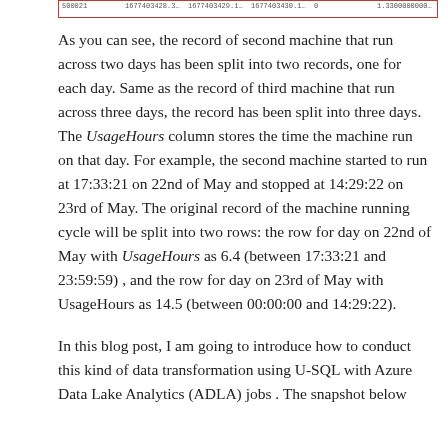| 500021 | 1677403428.303000000000 | 1677403429.113821000000 | 1677403430.117000000000 | 0 | 1.330000000000007 |
As you can see, the record of second machine that run across two days has been split into two records, one for each day. Same as the record of third machine that run across three days, the record has been split into three days. The UsageHours column stores the time the machine run on that day. For example, the second machine started to run at 17:33:21 on 22nd of May and stopped at 14:29:22 on 23rd of May. The original record of the machine running cycle will be split into two rows: the row for day on 22nd of May with UsageHours as 6.4 (between 17:33:21 and 23:59:59) , and the row for day on 23rd of May with UsageHours as 14.5 (between 00:00:00 and 14:29:22).
In this blog post, I am going to introduce how to conduct this kind of data transformation using U-SQL with Azure Data Lake Analytics (ADLA) jobs . The snapshot below